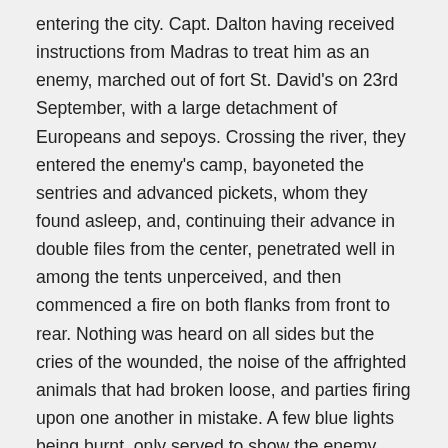entering the city. Capt. Dalton having received instructions from Madras to treat him as an enemy, marched out of fort St. David's on 23rd September, with a large detachment of Europeans and sepoys. Crossing the river, they entered the enemy's camp, bayoneted the sentries and advanced pickets, whom they found asleep, and, continuing their advance in double files from the center, penetrated well in among the tents unperceived, and then commenced a fire on both flanks from front to rear. Nothing was heard on all sides but the cries of the wounded, the noise of the affrighted animals that had broken loose, and parties firing upon one another in mistake. A few blue lights being burnt, only served to show the enemy more distinctly, and the firing was continued until every opponent outside the pagoda had disappeared. The enemy, who lined its walls, then commenced firing, and in a short time 20 men were killed and wounded. The sepoys having effectually secured a number of horses and baggage, the troops leisurely retired towards the city before the break of day.